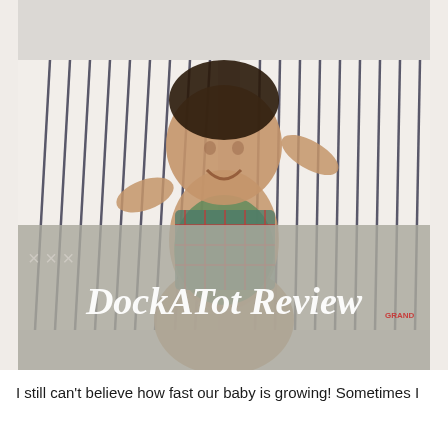[Figure (photo): A smiling baby sitting upright inside a DockATot Grand lounger with navy blue and white stripes, on a white bed. The baby is wearing a plaid romper. The DockATot logo is visible on the lower right of the lounger. Three X marks appear in the lower left corner of the image area. The bottom portion of the image has a grey/taupe overlay banner.]
DockATot Review
I still can't believe how fast our baby is growing! Sometimes I